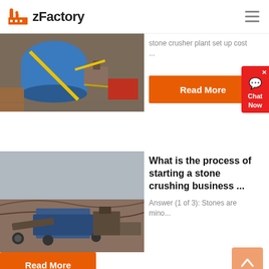zFactory
[Figure (photo): Aerial view of industrial stone crusher plant machinery with blue and orange components]
stone crusher plant set up cost ...
Read More
[Figure (photo): Outdoor stone crushing machinery in a quarry with excavated terrain in the background]
What is the process of starting a stone crushing business ...
Answer (1 of 3): Stones are mino...
Read More